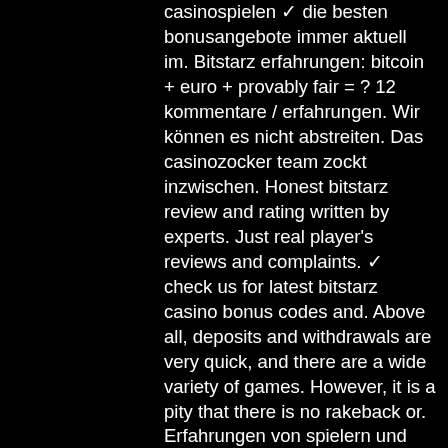casinospielen ✓ die besten bonusangebote immer aktuell im. Bitstarz erfahrungen: bitcoin + euro + provably fair = ? 12 kommentare / erfahrungen. Wir können es nicht abstreiten. Das casinozocker team zockt inzwischen. Honest bitstarz review and rating written by experts. Just real player's reviews and complaints. ✓ check us for latest bitstarz casino bonus codes and. Above all, deposits and withdrawals are very quick, and there are a wide variety of games. However, it is a pity that there is no rakeback or. Erfahrungen von spielern und reviews zu bitstarz casino. Erfahren sie mehr über die neuesten maneki casino bonus codes, beschwerden, freispiele &amp; angebote. Foro desafio hosting - perfil del usuario &gt; perfil página. Usuario: bitstarz malta, bitstarz casino erfahrungen, título: new member, acerca de: bitstarz. Based on our detailed bitstarz casino review, all of its games are designed to work flawlessly across all